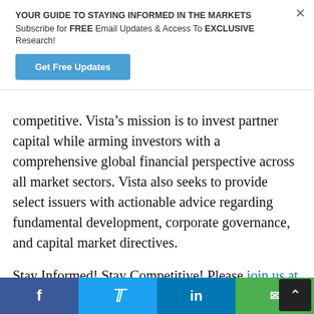YOUR GUIDE TO STAYING INFORMED IN THE MARKETS
Subscribe for FREE Email Updates & Access To EXCLUSIVE Research!
Get Free Updates
competitive. Vista’s mission is to invest partner capital while arming investors with a comprehensive global financial perspective across all market sectors. Vista also seeks to provide select issuers with actionable advice regarding fundamental development, corporate governance, and capital market directives.
Stay Informed! Stay Competitive! Please join us at Vista Partners, receive our FREE email updates through